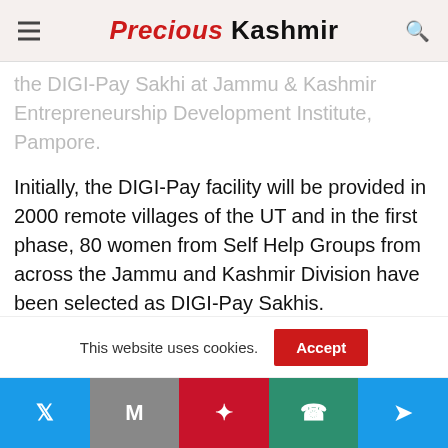Precious Kashmir
the DIGI-Pay Sakhi at Jammu & Kashmir Entrepreneurship Development Institute, Pampore.
Initially, the DIGI-Pay facility will be provided in 2000 remote villages of the UT and in the first phase, 80 women from Self Help Groups from across the Jammu and Kashmir Division have been selected as DIGI-Pay Sakhis.
On the occasion, the Lt Governor distributed 80 Aadhaar Enabled Payment Systems (AEPs)
This website uses cookies.
Twitter | Gmail | Pinterest | WhatsApp | Send